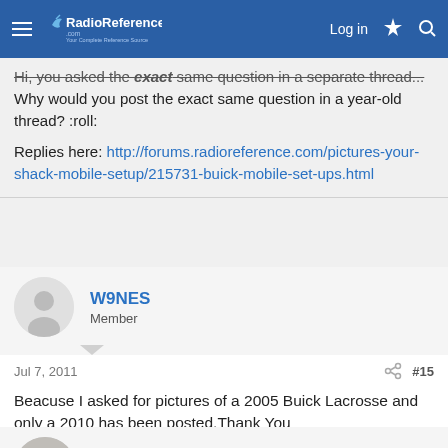RadioReference.com — Log in
Hi, you asked the exact same question in a separate thread... Why would you post the exact same question in a year-old thread? :roll:

Replies here: http://forums.radioreference.com/pictures-your-shack-mobile-setup/215731-buick-mobile-set-ups.html
W9NES
Member
Jul 7, 2011  #15
Beacuse I asked for pictures of a 2005 Buick Lacrosse and only a 2010 has been posted.Thank You
GlacierClipper
Member